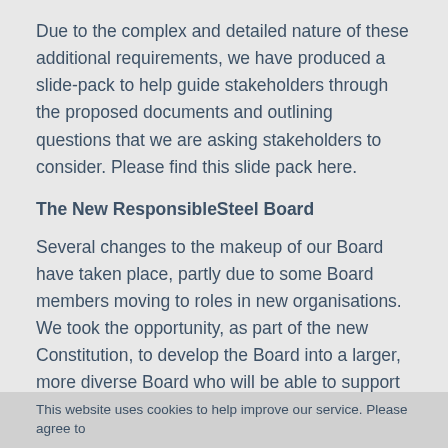Due to the complex and detailed nature of these additional requirements, we have produced a slide-pack to help guide stakeholders through the proposed documents and outlining questions that we are asking stakeholders to consider. Please find this slide pack here.
The New ResponsibleSteel Board
Several changes to the makeup of our Board have taken place, partly due to some Board members moving to roles in new organisations. We took the opportunity, as part of the new Constitution, to develop the Board into a larger, more diverse Board who will be able to support the ResponsibleSteel Secretariat, and all of our members, deliver the ResponsibleSteel products and services to allow us to achieve our mission.
This website uses cookies to help improve our service. Please agree to